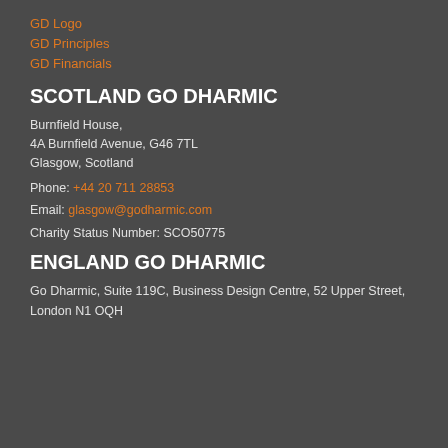GD Logo
GD Principles
GD Financials
SCOTLAND GO DHARMIC
Burnfield House,
4A Burnfield Avenue, G46 7TL
Glasgow, Scotland
Phone: +44 20 711 28853
Email: glasgow@godharmic.com
Charity Status Number: SCO50775
ENGLAND GO DHARMIC
Go Dharmic, Suite 119C, Business Design Centre, 52 Upper Street, London N1 OQH